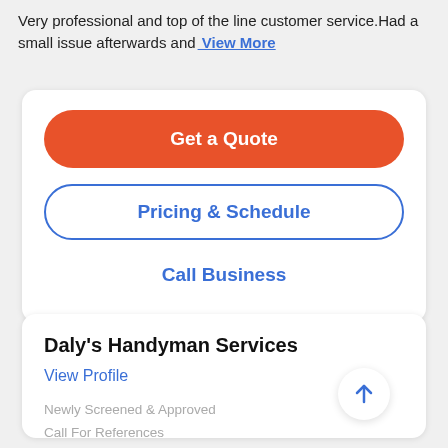Very professional and top of the line customer service.Had a small issue afterwards and View More
Get a Quote
Pricing & Schedule
Call Business
Daly's Handyman Services
View Profile
Newly Screened & Approved
Call For References